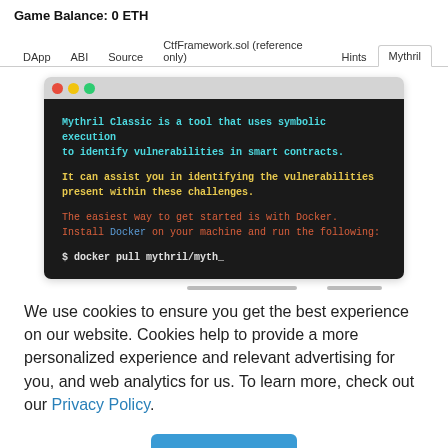Game Balance: 0 ETH
DApp  ABI  Source  CtfFramework.sol (reference only)  Hints  Mythril
[Figure (screenshot): Terminal window showing Mythril Classic tool description. Text includes: 'Mythril Classic is a tool that uses symbolic execution to identify vulnerabilities in smart contracts.' (cyan), 'It can assist you in identifying the vulnerabilities present within these challenges.' (yellow), 'The easiest way to get started is with Docker. Install Docker on your machine and run the following:' (red/orange with blue link for Docker), '$ docker pull mythril/myth_' (white/green command)]
We use cookies to ensure you get the best experience on our website. Cookies help to provide a more personalized experience and relevant advertising for you, and web analytics for us. To learn more, check out our Privacy Policy.
Got it